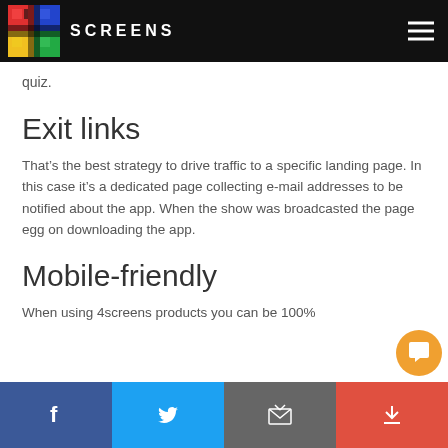SCREENS
quiz.
Exit links
That’s the best strategy to drive traffic to a specific landing page. In this case it’s a dedicated page collecting e-mail addresses to be notified about the app. When the show was broadcasted the page egg on downloading the app.
Mobile-friendly
When using 4screens products you can be 100%
Facebook | Twitter | Email | Chat